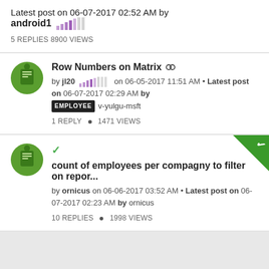Latest post on 06-07-2017 02:52 AM by android1
5 REPLIES • 8900 VIEWS
Row Numbers on Matrix
by jl20 on 06-05-2017 11:51 AM • Latest post on 06-07-2017 02:29 AM by EMPLOYEE v-yulgu-msft
1 REPLY • 1471 VIEWS
✓ count of employees per compagny to filter on repor...
by ornicus on 06-06-2017 03:52 AM • Latest post on 06-07-2017 02:23 AM by ornicus
10 REPLIES • 1998 VIEWS